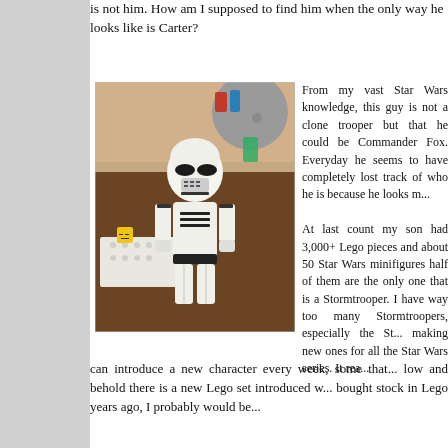is not him. How am I supposed to find him when the only way he looks like is Carter?
[Figure (photo): A LEGO Stormtrooper minifigure standing on a table surrounded by LEGO pieces and other LEGO figures in the background.]
From my vast Star Wars knowledge, this guy is not a clone trooper but that he could be Commander Fox. Everyday he seems to have completely lost track of who he is because he looks more...
At last count my son had 3,000+ Lego pieces and about 50 Star Wars minifigures half of them are the only one that is a Stormtrooper. I have way too many Stormtroopers, especially the Star Wars line is making new ones for all the Star Wars series. It really is amazing they can introduce a new character every week, some that... low and behold there is a new Lego set introduced w... bought stock in Lego years ago, I probably would be...